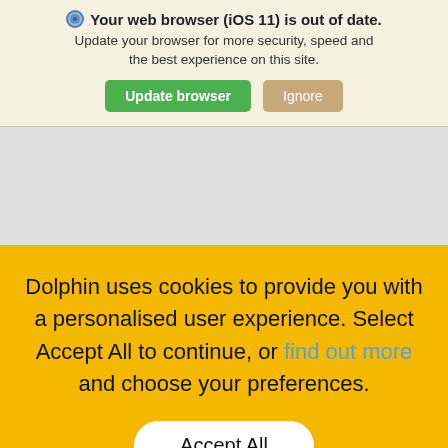Your web browser (iOS 11) is out of date. Update your browser for more security, speed and the best experience on this site.
[Figure (screenshot): Browser update notification banner with Update browser (green) and Ignore (tan) buttons]
Dolphin uses cookies to provide you with a personalised user experience. Select Accept All to continue, or find out more and choose your preferences.
Accept All